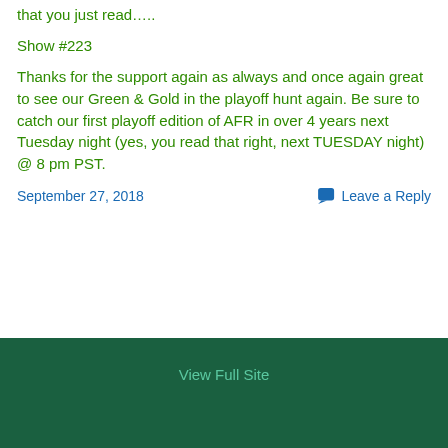that you just read…..
Show #223
Thanks for the support again as always and once again great to see our Green & Gold in the playoff hunt again. Be sure to catch our first playoff edition of AFR in over 4 years next Tuesday night (yes, you read that right, next TUESDAY night) @ 8 pm PST.
September 27, 2018
Leave a Reply
View Full Site